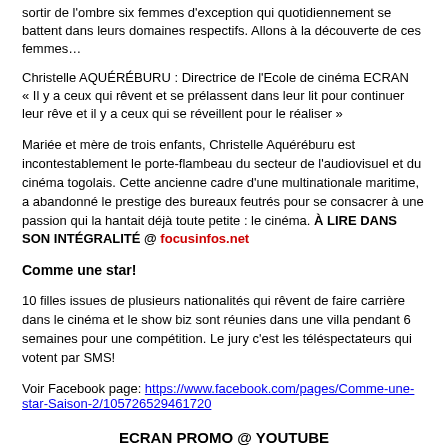sortir de l'ombre six femmes d'exception qui quotidiennement se battent dans leurs domaines respectifs. Allons à la découverte de ces femmes…
Christelle AQUÉRÉBURU : Directrice de l'Ecole de cinéma ECRAN
« Il y a ceux qui rêvent et se prélassent dans leur lit pour continuer leur rêve et il y a ceux qui se réveillent pour le réaliser »
Mariée et mère de trois enfants, Christelle Aquéréburu est incontestablement le porte-flambeau du secteur de l'audiovisuel et du cinéma togolais. Cette ancienne cadre d'une multinationale maritime, a abandonné le prestige des bureaux feutrés pour se consacrer à une passion qui la hantait déjà toute petite : le cinéma. À LIRE DANS SON INTÉGRALITÉ @ focusinfos.net
Comme une star!
10 filles issues de plusieurs nationalités qui rêvent de faire carrière dans le cinéma et le show biz sont réunies dans une villa pendant 6 semaines pour une compétition. Le jury c'est les téléspectateurs qui votent par SMS!
Voir Facebook page: https://www.facebook.com/pages/Comme-une-star-Saison-2/105726529461720
ECRAN PROMO @ YOUTUBE
[Figure (screenshot): YouTube video thumbnail showing ECRAN logo on white background on left, dark background with white text 'ECRAN, Ecole de Cinéma au Togo']